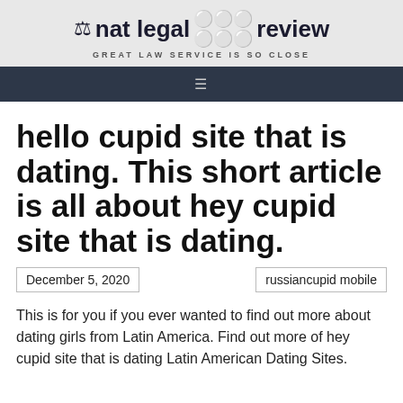nat legal review — GREAT LAW SERVICE IS SO CLOSE
hello cupid site that is dating. This short article is all about hey cupid site that is dating.
December 5, 2020
russiancupid mobile
This is for you if you ever wanted to find out more about dating girls from Latin America. Find out more of hey cupid site that is dating Latin American Dating Sites.